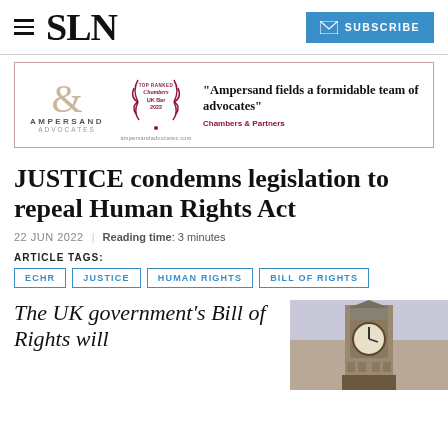SLN
[Figure (infographic): Ampersand Advocates advertisement banner showing the ampersand logo, Chambers UK Bar 2022 Top Ranked badge, and quote: 'Ampersand fields a formidable team of advocates' – Chambers & Partners. Website: ampersandadvocates.com]
JUSTICE condemns legislation to repeal Human Rights Act
22 JUN 2022 | Reading time: 3 minutes
ARTICLE TAGS:
ECHR
JUSTICE
HUMAN RIGHTS
BILL OF RIGHTS
The UK government's Bill of Rights will